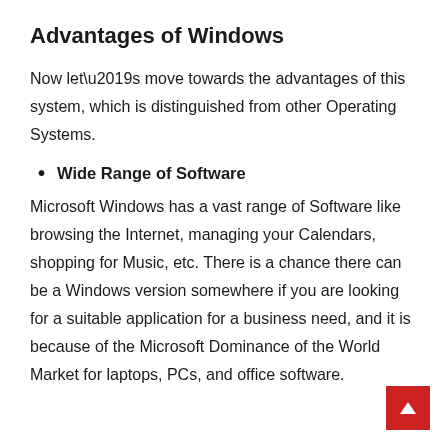Advantages of Windows
Now let’s move towards the advantages of this system, which is distinguished from other Operating Systems.
Wide Range of Software
Microsoft Windows has a vast range of Software like browsing the Internet, managing your Calendars, shopping for Music, etc. There is a chance there can be a Windows version somewhere if you are looking for a suitable application for a business need, and it is because of the Microsoft Dominance of the World Market for laptops, PCs, and office software.